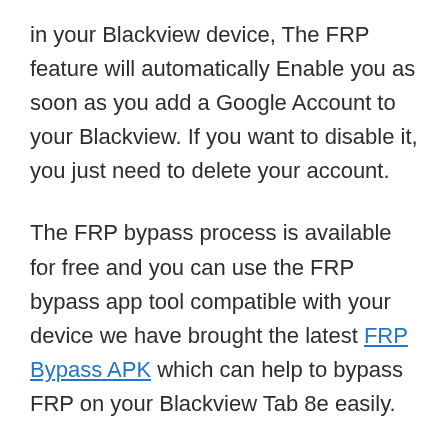in your Blackview device, The FRP feature will automatically Enable you as soon as you add a Google Account to your Blackview. If you want to disable it, you just need to delete your account.
The FRP bypass process is available for free and you can use the FRP bypass app tool compatible with your device we have brought the latest FRP Bypass APK which can help to bypass FRP on your Blackview Tab 8e easily.
How to FRP Bypass